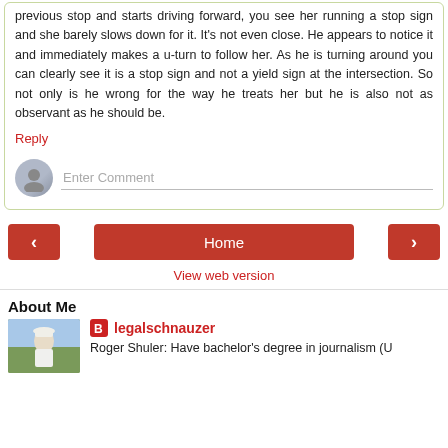previous stop and starts driving forward, you see her running a stop sign and she barely slows down for it. It's not even close. He appears to notice it and immediately makes a u-turn to follow her. As he is turning around you can clearly see it is a stop sign and not a yield sign at the intersection. So not only is he wrong for the way he treats her but he is also not as observant as he should be.
Reply
[Figure (other): Comment input area with avatar circle and 'Enter Comment' placeholder text input field]
[Figure (other): Navigation bar with left arrow button, Home button, and right arrow button, all in red]
View web version
About Me
[Figure (photo): Photo of a person outdoors, wearing a white hat and white shirt]
legalschnauzer
Roger Shuler: Have bachelor's degree in journalism (U